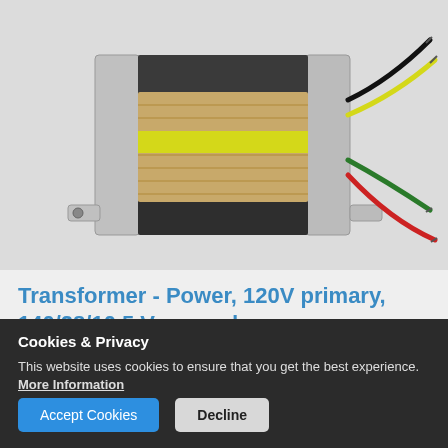[Figure (photo): Photograph of a power transformer with metal laminated core, yellow tape insulation, and multiple colored wires (black, yellow, green, red) coming out of it, mounted with a bracket, on a light grey background.]
Transformer - Power, 120V primary, 140/28/10.5 V secondary
Primary Voltage: 120 V
Cookies & Privacy
This website uses cookies to ensure that you get the best experience. More Information
Accept Cookies
Decline